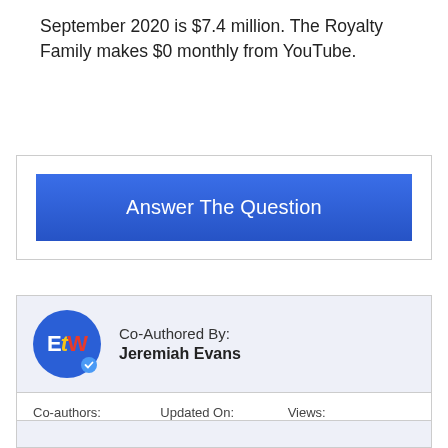September 2020 is $7.4 million. The Royalty Family makes $0 monthly from YouTube.
[Figure (other): Blue button labeled 'Answer The Question' inside a white bordered box]
Co-Authored By:
Jeremiah Evans
| Co-authors: | Updated On: | Views: |
| --- | --- | --- |
| 3 | Aug 22 2022 | 4335 |
[Figure (other): Bottom partial box with light blue background, partially visible]